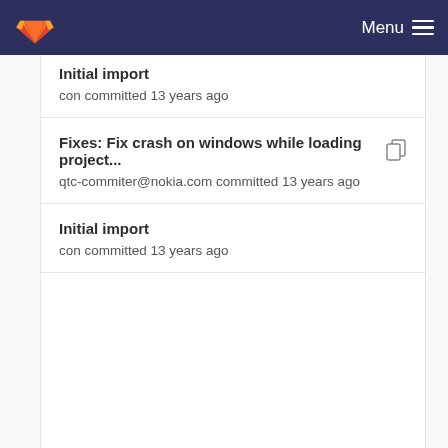GitLab — Menu
Initial import
con committed 13 years ago
Fixes: Fix crash on windows while loading project...
qtc-commiter@nokia.com committed 13 years ago
Initial import
con committed 13 years ago